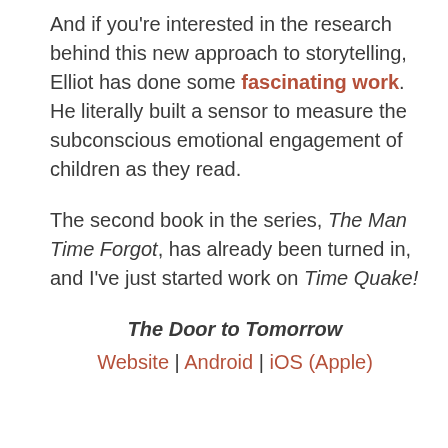And if you're interested in the research behind this new approach to storytelling, Elliot has done some fascinating work. He literally built a sensor to measure the subconscious emotional engagement of children as they read.
The second book in the series, The Man Time Forgot, has already been turned in, and I've just started work on Time Quake!
The Door to Tomorrow
Website | Android | iOS (Apple)